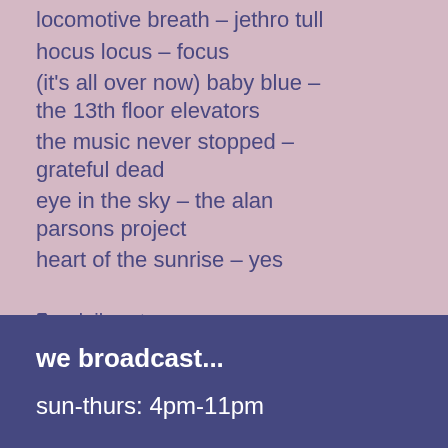locomotive breath – jethro tull
hocus locus – focus
(it's all over now) baby blue – the 13th floor elevators
the music never stopped – grateful dead
eye in the sky – the alan parsons project
heart of the sunrise – yes
📁 daily sets
‹ hello, it's me
› sun day fun day
we broadcast...
sun-thurs: 4pm-11pm